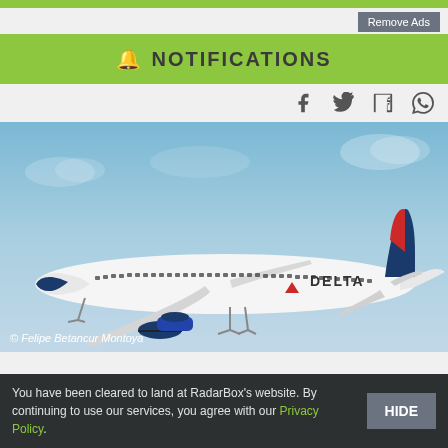Remove Ads
NOTIFICATIONS
[Figure (photo): Delta Airlines Boeing 737 aircraft in flight against a blue sky, white livery with red and blue Delta logo on tail, 'DELTA' written on fuselage. Photo credit: © Felipe Betancur Montoya]
© Felipe Betancur Montoya
You have been cleared to land at RadarBox's website. By continuing to use our services, you agree with our Privacy Policy.